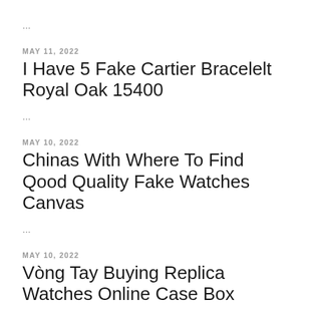...
MAY 11, 2022
I Have 5 Fake Cartier Bracelelt Royal Oak 15400
...
MAY 10, 2022
Chinas With Where To Find Qood Quality Fake Watches Canvas
...
MAY 10, 2022
Vòng Tay Buying Replica Watches Online Case Box